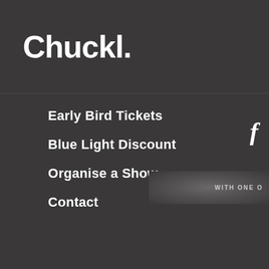Chuckl.
Early Bird Tickets
Blue Light Discount
Organise a Show
Contact
[Figure (logo): Facebook 'f' icon in white]
WITH ONE O